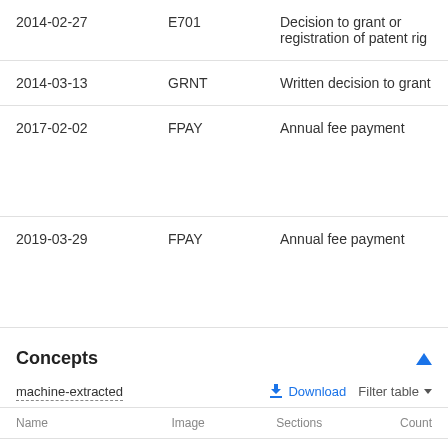| Date | Code | Description |
| --- | --- | --- |
| 2014-02-27 | E701 | Decision to grant or registration of patent rig |
| 2014-03-13 | GRNT | Written decision to grant |
| 2017-02-02 | FPAY | Annual fee payment |
| 2019-03-29 | FPAY | Annual fee payment |
Concepts
machine-extracted
| Name | Image | Sections | Count |
| --- | --- | --- | --- |